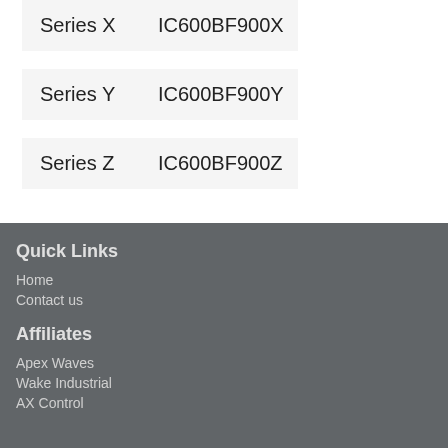| Series | Code |
| --- | --- |
| Series X | IC600BF900X |
| Series Y | IC600BF900Y |
| Series Z | IC600BF900Z |
Quick Links
Home
Contact us
Affiliates
Apex Waves
Wake Industrial
AX Control